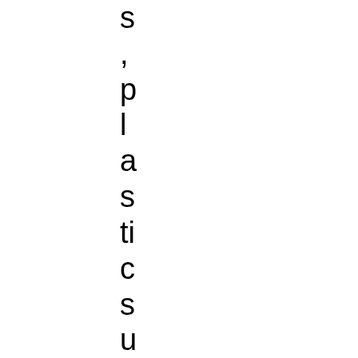s
,
p
l
a
s
ti
c
s
u
r
g
e
o
n
s